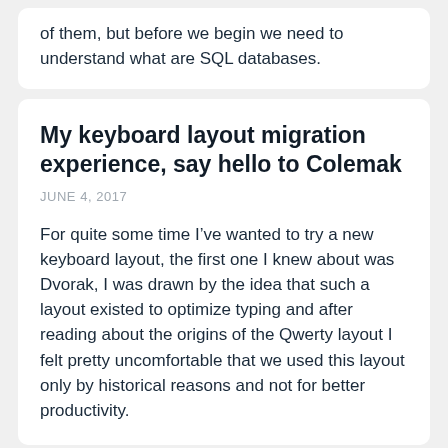of them, but before we begin we need to understand what are SQL databases.
My keyboard layout migration experience, say hello to Colemak
JUNE 4, 2017
For quite some time I&rsquo;ve wanted to try a new keyboard layout, the first one I knew about was Dvorak, I was drawn by the idea that such a layout existed to optimize typing and after reading about the origins of the Qwerty layout I felt pretty uncomfortable that we used this layout only by historical reasons and not for better productivity.